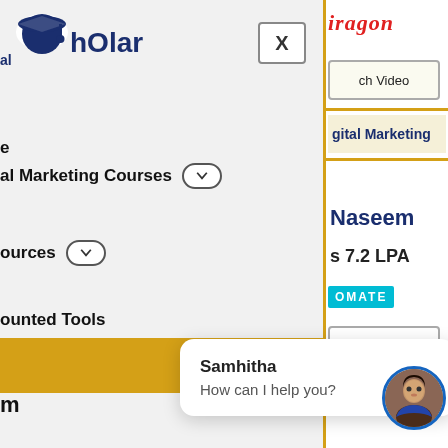[Figure (logo): Digital Scholar logo with graduation cap icon and text 'hOlar' (partial, left side cut off)]
[Figure (screenshot): X close button (square with X label)]
[Figure (logo): Paragon logo partial - italic red text 'iragon' visible on right panel]
ch Video
e
al Marketing Courses
ources
ounted Tools
roducts
gital Marketing
Naseem
s 7.2 LPA
OMATE
ch Video
m
Samhitha
How can I help you?